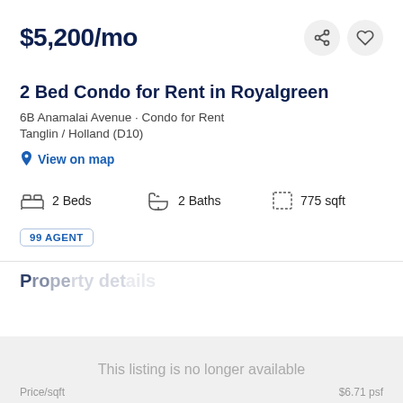$5,200/mo
2 Bed Condo for Rent in Royalgreen
6B Anamalai Avenue · Condo for Rent
Tanglin / Holland (D10)
View on map
2 Beds   2 Baths   775 sqft
99 AGENT
This listing is no longer available
Price/sqft   $6.71 psf